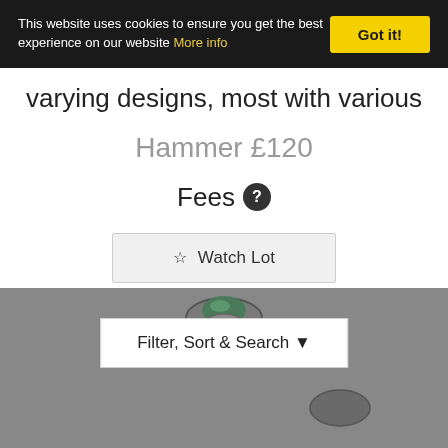This website uses cookies to ensure you get the best experience on our website More info
varying designs, most with various
Hammer £120
Fees ?
☆ Watch Lot
[Figure (photo): A green stone ring or jewelry item partially visible at the bottom of the page against a grey background]
Filter, Sort & Search